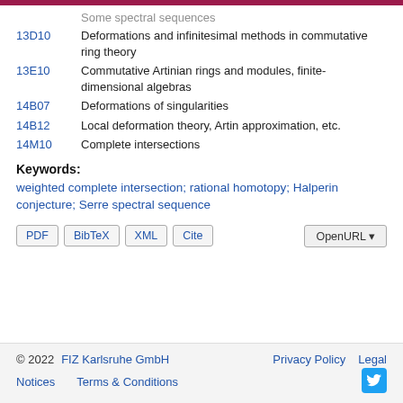13D10 Deformations and infinitesimal methods in commutative ring theory
13E10 Commutative Artinian rings and modules, finite-dimensional algebras
14B07 Deformations of singularities
14B12 Local deformation theory, Artin approximation, etc.
14M10 Complete intersections
Keywords:
weighted complete intersection; rational homotopy; Halperin conjecture; Serre spectral sequence
© 2022 FIZ Karlsruhe GmbH   Privacy Policy   Legal Notices   Terms & Conditions